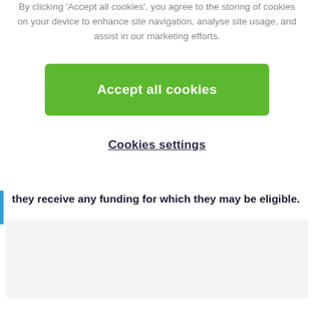By clicking 'Accept all cookies', you agree to the storing of cookies on your device to enhance site navigation, analyse site usage, and assist in our marketing efforts.
Accept all cookies
Cookies settings
they receive any funding for which they may be eligible.
[Figure (other): Grey placeholder box at bottom of page]